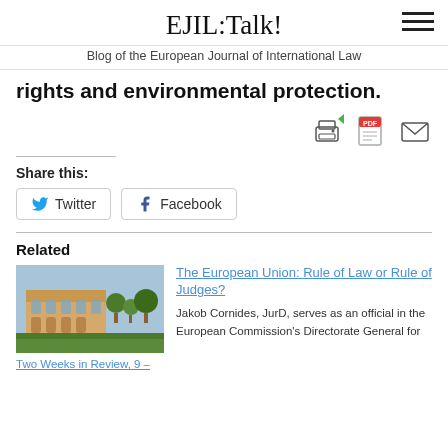EJIL:Talk! — Blog of the European Journal of International Law
rights and environmental protection.
Share this:
Twitter  Facebook
Related
[Figure (photo): Photograph of a European palace garden with manicured hedges]
Two Weeks in Review, 9 –
The European Union: Rule of Law or Rule of Judges? Jakob Cornides, JurD, serves as an official in the European Commission's Directorate General for